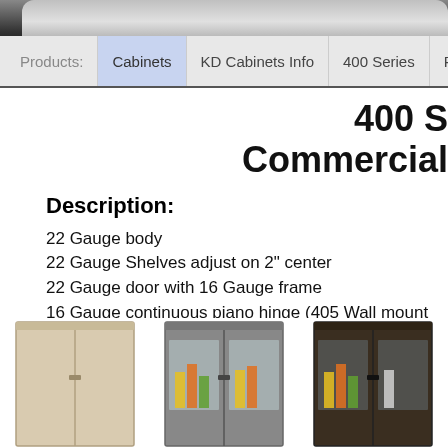Products: | Cabinets | KD Cabinets Info | 400 Series | Photos
400 S...
Commercial
Description:
22 Gauge body
22 Gauge Shelves adjust on 2" center
22 Gauge door with 16 Gauge frame
16 Gauge continuous piano hinge (405 Wall mount uses con...
200 lb shelf capacity
Doors include key lock and 3-point turn handle
[Figure (photo): Three metal storage cabinets shown side by side: a tan/beige solid door cabinet, a gray glass-door cabinet with visible contents (cleaning supplies), and a dark brown glass-door cabinet with visible contents]